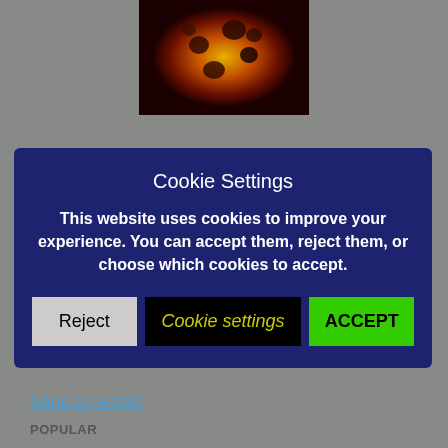[Figure (photo): Close-up image of a cookie with dark spots on a yellow/orange/dark background, viewed from above]
Cookie Settings
This website uses cookies to improve your experience. You can accept them, reject them, or choose which cookies to accept.
Reject | Cookie settings | ACCEPT
Send an email!
POPULAR
Sorry. No data so far.